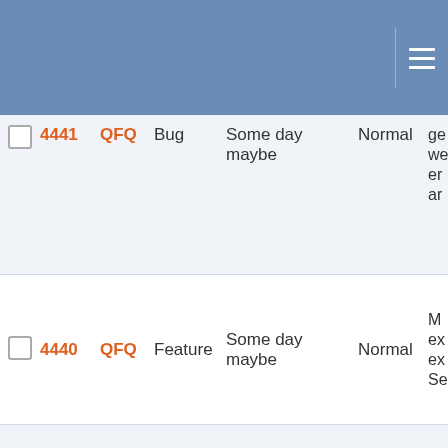|  | # | Project | Type | Milestone | Priority | Description |
| --- | --- | --- | --- | --- | --- | --- |
| ☐ | 4441 | QFQ | Bug | Some day maybe | Normal | ge we er ar... |
| ☐ | 4440 | QFQ | Feature | Some day maybe | Normal | M ex ex Se... |
| ☐ | 4439 | QFQ | Feature | Some day maybe | Normal | Lo ac ar in di sc... |
| ☐ | 4435 | QFQ | Feature | Some day maybe | Normal | Re - s ta... |
| ☐ | 4433 | QFQ | Feature | Some day maybe | Normal | Lo wi by (s... |
| ☐ | 4138 | QFQ | Bug | Some day maybe | Normal | _s f... |